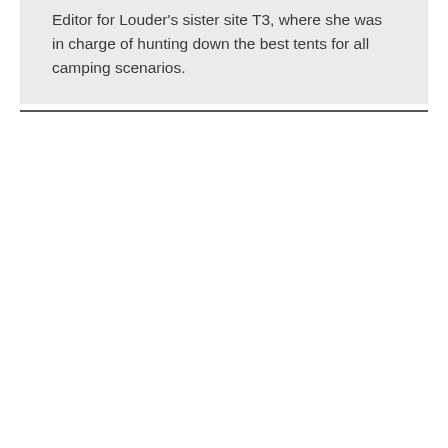Editor for Louder's sister site T3, where she was in charge of hunting down the best tents for all camping scenarios.